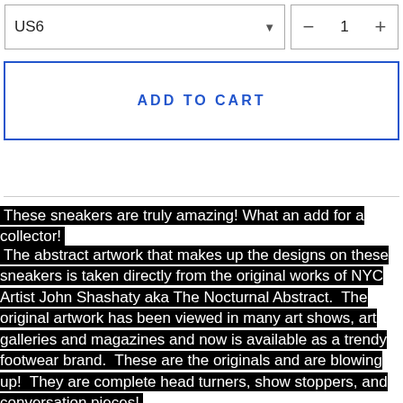US6
ADD TO CART
These sneakers are truly amazing! What an add for a collector!
The abstract artwork that makes up the designs on these sneakers is taken directly from the original works of NYC Artist John Shashaty aka The Nocturnal Abstract.  The original artwork has been viewed in many art shows, art galleries and magazines and now is available as a trendy footwear brand.  These are the originals and are blowing up!  They are complete head turners, show stoppers, and conversation pieces!